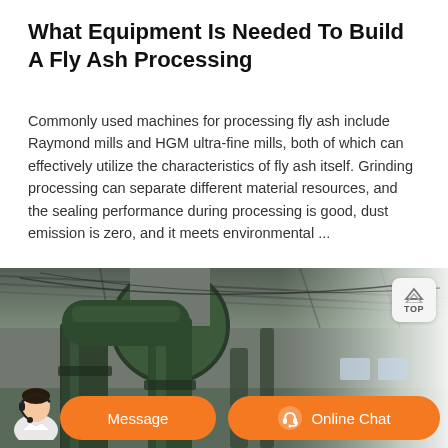What Equipment Is Needed To Build A Fly Ash Processing
Commonly used machines for processing fly ash include Raymond mills and HGM ultra-fine mills, both of which can effectively utilize the characteristics of fly ash itself. Grinding processing can separate different material resources, and the sealing performance during processing is good, dust emission is zero, and it meets environmental ...
[Figure (photo): Industrial photograph showing large green/dark pipe ducts and machinery inside a warehouse/factory with metal roof structure, used for fly ash processing equipment.]